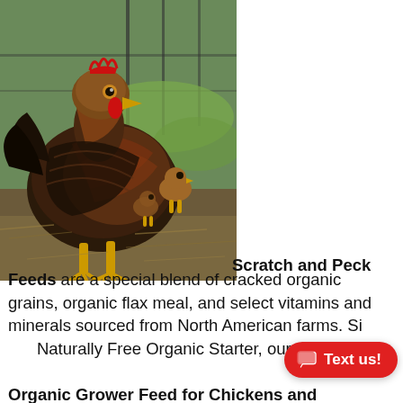[Figure (photo): Photo of chickens in an outdoor pen with wire fencing and green grass in the background. A large dark brown/black hen is prominent in the foreground with other chickens visible behind it.]
Scratch and Peck Feeds are a special blend of cracked organic grains, organic flax meal, and select vitamins and minerals sourced from North American farms. Si... Naturally Free Organic Starter, our Natu... Organic Grower Feed for Chickens and